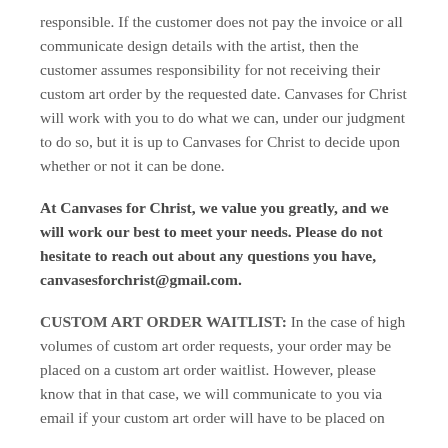responsible. If the customer does not pay the invoice or all communicate design details with the artist, then the customer assumes responsibility for not receiving their custom art order by the requested date. Canvases for Christ will work with you to do what we can, under our judgment to do so, but it is up to Canvases for Christ to decide upon whether or not it can be done.
At Canvases for Christ, we value you greatly, and we will work our best to meet your needs. Please do not hesitate to reach out about any questions you have, canvasesforchrist@gmail.com.
CUSTOM ART ORDER WAITLIST: In the case of high volumes of custom art order requests, your order may be placed on a custom art order waitlist. However, please know that in that case, we will communicate to you via email if your custom art order will have to be placed on